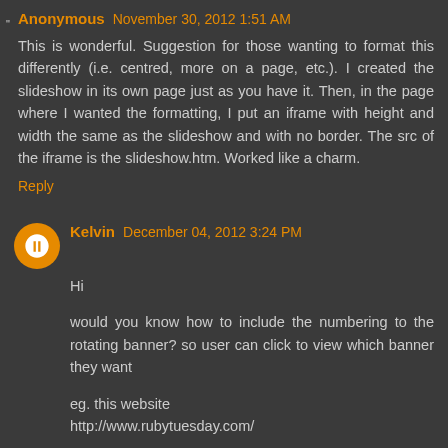Anonymous November 30, 2012 1:51 AM
This is wonderful. Suggestion for those wanting to format this differently (i.e. centred, more on a page, etc.). I created the slideshow in its own page just as you have it. Then, in the page where I wanted the formatting, I put an iframe with height and width the same as the slideshow and with no border. The src of the iframe is the slideshow.htm. Worked like a charm.
Reply
Kelvin December 04, 2012 3:24 PM
Hi
would you know how to include the numbering to the rotating banner? so user can click to view which banner they want
eg. this website
http://www.rubytuesday.com/